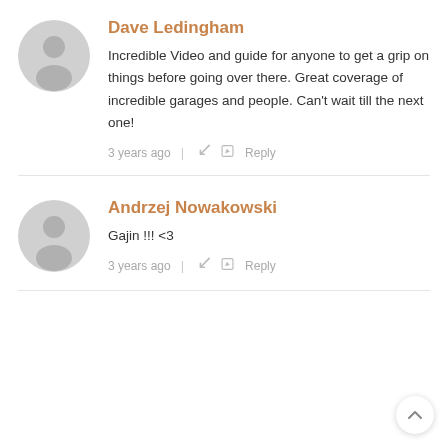[Figure (illustration): Gray circular avatar icon with silhouette of a person (first comment)]
Dave Ledingham
Incredible Video and guide for anyone to get a grip on things before going over there. Great coverage of incredible garages and people. Can't wait till the next one!
3 years ago | ↪ ✎ Reply
[Figure (illustration): Gray circular avatar icon with silhouette of a person (second comment)]
Andrzej Nowakowski
Gajin !!! <3
3 years ago | ↪ ✎ Reply